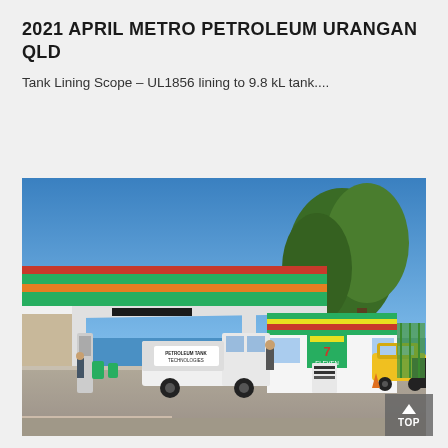2021 APRIL METRO PETROLEUM URANGAN QLD
Tank Lining Scope – UL1856 lining to 9.8 kL tank....
[Figure (photo): Photograph of a 7-Eleven petrol station forecourt showing the branded canopy with green, orange and red stripes, fuel pumps, a white work ute with 'Petroleum Tank Technologies' signage, and the 7-Eleven convenience store building. A yellow car and trees are visible in the background. Blue sky overhead.]